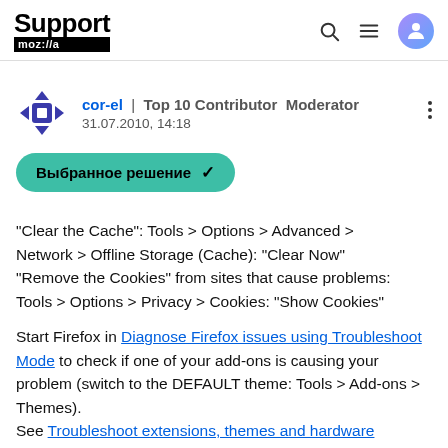Support mozilla | [search] [menu] [user]
cor-el | Top 10 Contributor Moderator
31.07.2010, 14:18
Выбранное решение ✓
"Clear the Cache": Tools > Options > Advanced > Network > Offline Storage (Cache): "Clear Now" "Remove the Cookies" from sites that cause problems: Tools > Options > Privacy > Cookies: "Show Cookies"
Start Firefox in Diagnose Firefox issues using Troubleshoot Mode to check if one of your add-ons is causing your problem (switch to the DEFAULT theme: Tools > Add-ons > Themes).
See Troubleshoot extensions, themes and hardware acceleration issues to solve common Firefox problems